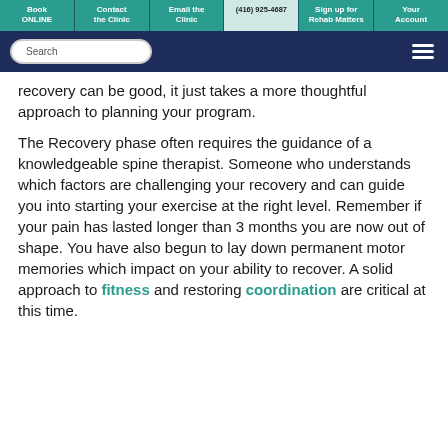Book ONLINE | Contact the Clinic | Email the Clinic | (416) 925-4687 | Sign up for Rehab Matters | Your Account
recovery can be good, it just takes a more thoughtful approach to planning your program.
The Recovery phase often requires the guidance of a knowledgeable spine therapist. Someone who understands which factors are challenging your recovery and can guide you into starting your exercise at the right level. Remember if your pain has lasted longer than 3 months you are now out of shape. You have also begun to lay down permanent motor memories which impact on your ability to recover. A solid approach to fitness and restoring coordination are critical at this time.